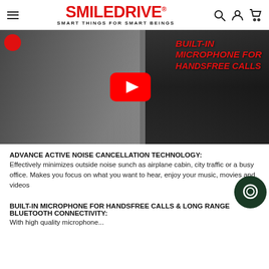SMILEDRIVE® SMART THINGS FOR SMART BEINGS
[Figure (screenshot): YouTube video thumbnail showing woman wearing headphones holding a phone, with close-up of headphones on right. Red overlay text reads BUILT-IN MICROPHONE FOR HANDSFREE CALLS. YouTube play button in center. Red circle top-left.]
ADVANCE ACTIVE NOISE CANCELLATION TECHNOLOGY: Effectively minimizes outside noise sunch as airplane cabin, city traffic or a busy office. Makes you focus on what you w... hear, enjoy your music, movies and videos
BUILT-IN MICROPHONE FOR HANDSFREE CALLS & LONG RANGE BLUETOOTH CONNECTIVITY: With high quality microphone...